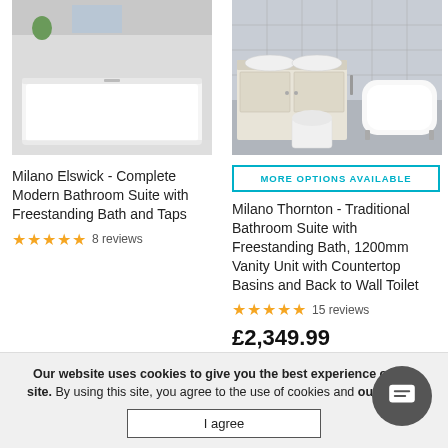[Figure (photo): Milano Elswick freestanding modern white bath in a grey tiled bathroom]
[Figure (photo): Milano Thornton traditional bathroom suite with vanity unit, countertop basins and freestanding bath]
MORE OPTIONS AVAILABLE
Milano Elswick - Complete Modern Bathroom Suite with Freestanding Bath and Taps
Milano Thornton - Traditional Bathroom Suite with Freestanding Bath, 1200mm Vanity Unit with Countertop Basins and Back to Wall Toilet
8 reviews
15 reviews
£2,349.99
Our website uses cookies to give you the best experience of our site. By using this site, you agree to the use of cookies and our policy.
I agree